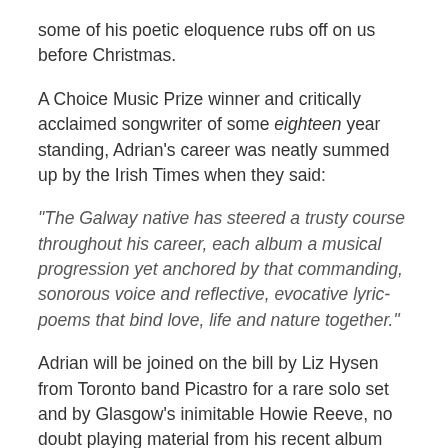some of his poetic eloquence rubs off on us before Christmas.
A Choice Music Prize winner and critically acclaimed songwriter of some eighteen year standing, Adrian's career was neatly summed up by the Irish Times when they said:
“The Galway native has steered a trusty course throughout his career, each album a musical progression yet anchored by that commanding, sonorous voice and reflective, evocative lyric-poems that bind love, life and nature together.”
Adrian will be joined on the bill by Liz Hysen from Toronto band Picastro for a rare solo set and by Glasgow’s inimitable Howie Reeve, no doubt playing material from his recent album ‘smaller, now’